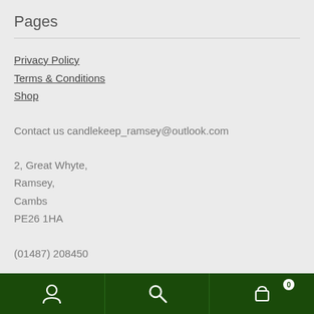Pages
Privacy Policy
Terms & Conditions
Shop
Contact us candlekeep_ramsey@outlook.com
2, Great Whyte,
Ramsey,
Cambs
PE26 1HA
(01487) 208450
Navigation bar with account, search, and cart (0) icons